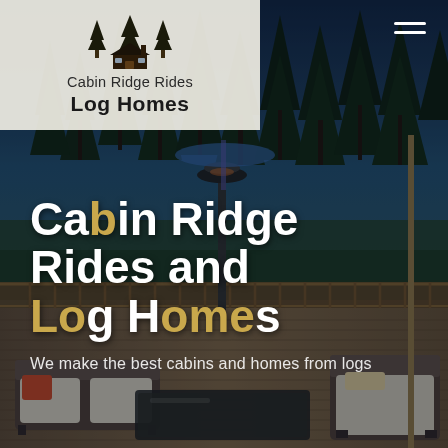[Figure (photo): Background photo of a wooden deck with outdoor furniture, tall pine trees, and twilight sky. Wicker chairs and sofa with cushions, glass coffee table, patio heater, wooden railing visible.]
[Figure (logo): Cabin Ridge Rides Log Homes logo: pine trees and cabin silhouette icon above text 'Cabin Ridge Rides' and bold 'Log Homes' on a cream/beige background panel.]
Cabin Ridge Rides and Log Homes
We make the best cabins and homes from logs